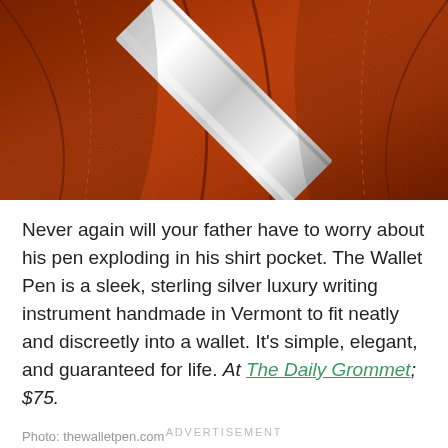[Figure (photo): Close-up photograph of brown/reddish-brown leather with stitching and a shiny metal pen or object resting diagonally across the leather surface]
Never again will your father have to worry about his pen exploding in his shirt pocket. The Wallet Pen is a sleek, sterling silver luxury writing instrument handmade in Vermont to fit neatly and discreetly into a wallet. It's simple, elegant, and guaranteed for life. At The Daily Grommet; $75.
Photo: thewalletpen.com
ADVERTISEMENT